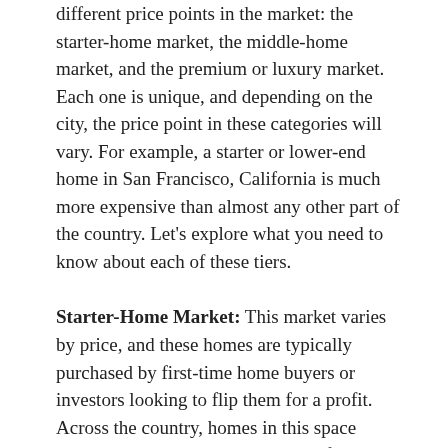different price points in the market: the starter-home market, the middle-home market, and the premium or luxury market. Each one is unique, and depending on the city, the price point in these categories will vary. For example, a starter or lower-end home in San Francisco, California is much more expensive than almost any other part of the country. Let's explore what you need to know about each of these tiers.
Starter-Home Market: This market varies by price, and these homes are typically purchased by first-time home buyers or investors looking to flip them for a profit. Across the country, homes in this space currently have less than 6 months of inventory for sale. That means there